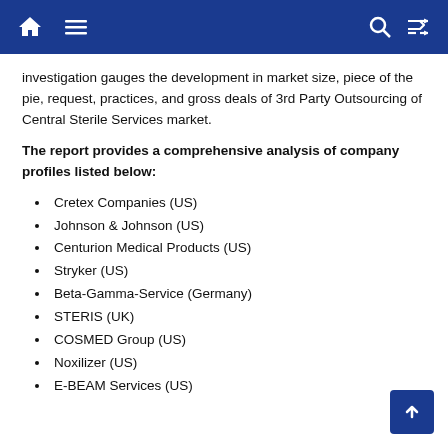Navigation bar with home, menu, search, and shuffle icons
investigation gauges the development in market size, piece of the pie, request, practices, and gross deals of 3rd Party Outsourcing of Central Sterile Services market.
The report provides a comprehensive analysis of company profiles listed below:
Cretex Companies (US)
Johnson & Johnson (US)
Centurion Medical Products (US)
Stryker (US)
Beta-Gamma-Service (Germany)
STERIS (UK)
COSMED Group (US)
Noxilizer (US)
E-BEAM Services (US)